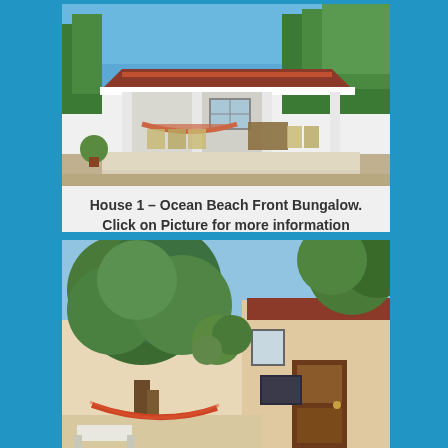[Figure (photo): Exterior photo of a white beach bungalow with a veranda, hammock, outdoor furniture, red tiled roof, and tropical trees in the background with blue sky.]
House 1 – Ocean Beach Front Bungalow. Click on Picture for more information
[Figure (photo): Exterior photo of a white tropical house with large green trees in the courtyard, a hammock hanging between trees, and a wooden entrance door visible.]